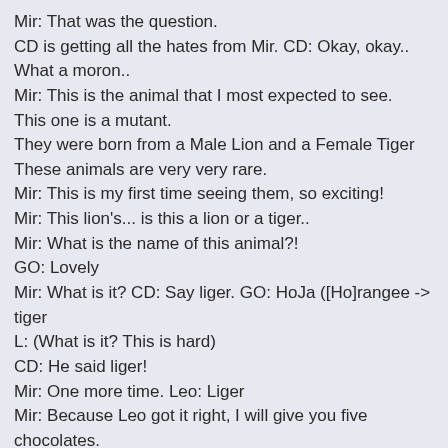Mir: That was the question.
CD is getting all the hates from Mir. CD: Okay, okay..
What a moron..
Mir: This is the animal that I most expected to see.
This one is a mutant.
They were born from a Male Lion and a Female Tiger
These animals are very very rare.
Mir: This is my first time seeing them, so exciting!
Mir: This lion's... is this a lion or a tiger..
Mir: What is the name of this animal?!
GO: Lovely
Mir: What is it? CD: Say liger. GO: HoJa ([Ho]rangee -> tiger
L: (What is it? This is hard)
CD: He said liger!
Mir: One more time. Leo: Liger
Mir: Because Leo got it right, I will give you five chocolates.
Mir: Because I worked so hard, I get 7 chocolates.
ChulYung, what kind of calculation is that
Mir: Ligar is really.. there are not many of them in this world.
You should be honor to see me.